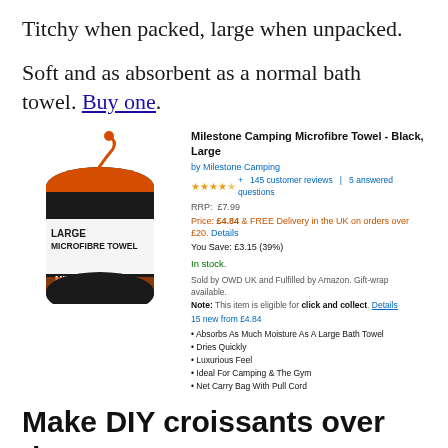Titchy when packed, large when unpacked.
Soft and as absorbent as a normal bath towel. Buy one.
[Figure (screenshot): Amazon product listing screenshot for Milestone Camping Microfibre Towel - Black, Large. Shows product image of a black and orange rolled towel in a bag, price £4.84 with FREE Delivery, 4.5 stars, 145 customer reviews, In stock, bullet points: Absorbs As Much Moisture As A Large Bath Towel, Dries Quickly, Luxurious Feel, Ideal For Camping & The Gym, Net Carry Bag With Pull Cord]
Make DIY croissants over the campfire
Because in my experience, one of the...